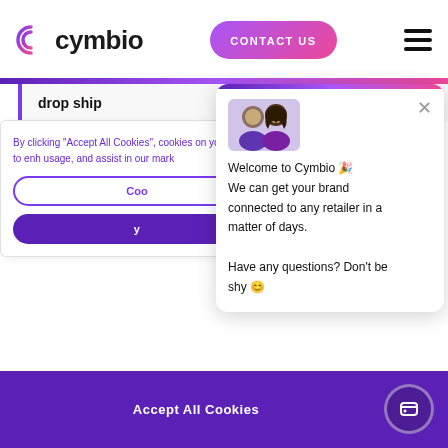[Figure (logo): Cymbio logo with stylized C icon in purple/pink gradient and 'cymbio' wordmark]
CONTACT US
[Figure (illustration): Hamburger menu icon (three horizontal lines)]
drop ship
By clicking "Accept All Cookies", cookies on your device to enhance usage, and assist in our mark
Cookies
[Figure (photo): Two people avatars in chat widget header]
Welcome to Cymbio 🎉
We can get your brand connected to any retailer in a matter of days.

Have any questions? Don't be shy 😊
Accept All Cookies